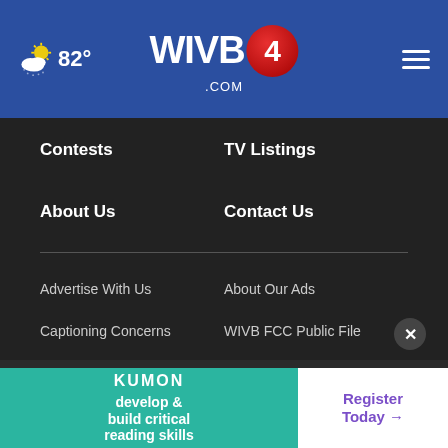WIVB4.com — 82° weather
Contests
TV Listings
About Us
Contact Us
Advertise With Us
About Our Ads
Captioning Concerns
WIVB FCC Public File
WIVB EEO Report
WNLO FCC Public File
WNLO EEO Report
Nexstar CC Certification
Privacy
[Figure (other): Kumon advertisement banner: develop & build critical reading skills — Register Today]